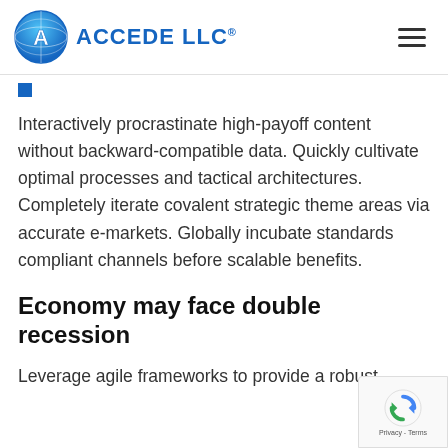ACCEDE LLC®
Interactively procrastinate high-payoff content without backward-compatible data. Quickly cultivate optimal processes and tactical architectures. Completely iterate covalent strategic theme areas via accurate e-markets. Globally incubate standards compliant channels before scalable benefits.
Economy may face double recession
Leverage agile frameworks to provide a robust